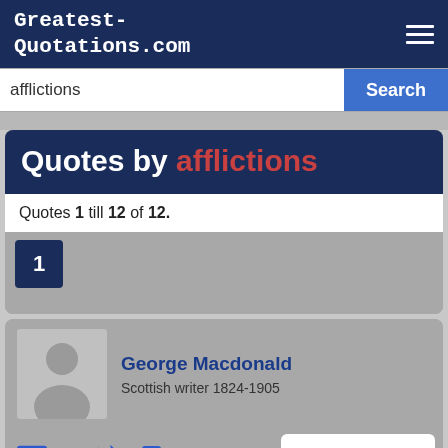Greatest-Quotations.com
afflictions
Quotes by afflictions
Quotes 1 till 12 of 12.
1
George Macdonald
Scottish writer 1824-1905
- + 0